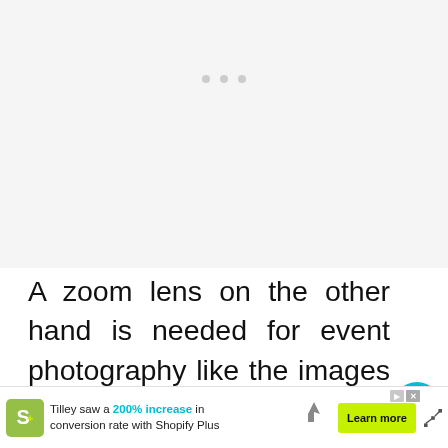[Figure (photo): Blank light gray image placeholder area with three small gray dots centered near the top]
A zoom lens on the other hand is needed for event photography like the images I displayed above. They came in handy especially when you can't get near to the guest cosplayers or th...
[Figure (other): Advertisement banner: Shopify Plus ad — Tilley saw a 200% increase in conversion rate with Shopify Plus. Learn more button. Arrow icons and social share icon visible.]